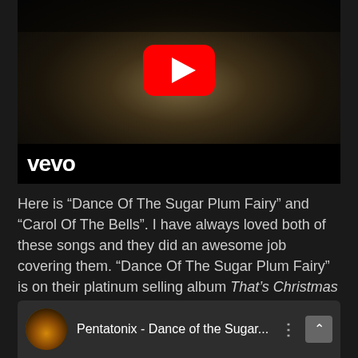[Figure (screenshot): YouTube video thumbnail showing a woman with blonde hair and a black hat, with a YouTube play button overlay. Below the thumbnail image is a black Vevo bar with 'vevo' logo in white.]
Here is “Dance Of The Sugar Plum Fairy” and “Carol Of The Bells”. I have always loved both of these songs and they did an awesome job covering them. “Dance Of The Sugar Plum Fairy” is on their platinum selling album That’s Christmas To Me and “Carol Of The Bells” is on PTXmas.
[Figure (screenshot): YouTube video list item showing a circular thumbnail of Pentatonix performing, with title 'Pentatonix - Dance of the Sugar...' and a three-dot menu icon and collapse arrow button.]